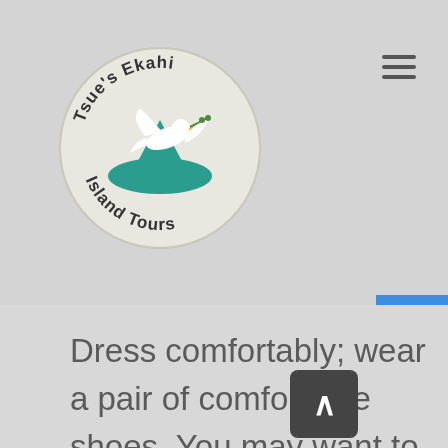[Figure (logo): Tsue's Ekahi Island Tours circular logo with a white bird/dove over a teal island shape, text around the circle reads 'Tsue's Ekahi Island Tours']
Dress comfortably; wear a pair of comfortable shoes. You may want to bring along a pair of flip flops or water shoes. Bring a change of clothes and a towel if you are planning to take place in any water activities. Sunblock is always recommended for all tours, as